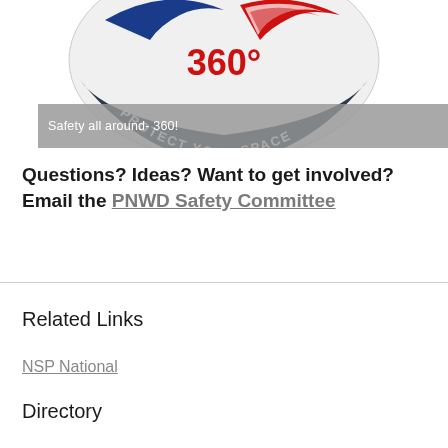[Figure (logo): NSP Protect Your Space 360 safety patch/logo with red, white, blue and dark navy colors. Circular badge shape with '360°' in red text and 'PROTECT YOUR SPACE' curved around the bottom arc.]
Safety all around- 360!
Questions? Ideas? Want to get involved? Email the PNWD Safety Committee
Related Links
NSP National
Directory